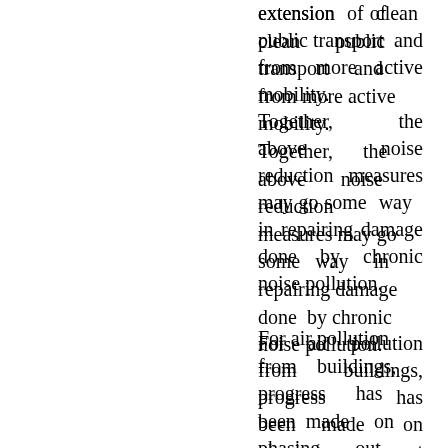extension of clean public transport and from more active mobility. Together, the above noise reduction measures may go some way in repairing damage done by chronic noise pollution.
For air pollution from buildings, progress has been made on phasing out polluting coal and fuel oil heating, while pollution from biomass burning remains a challenge.